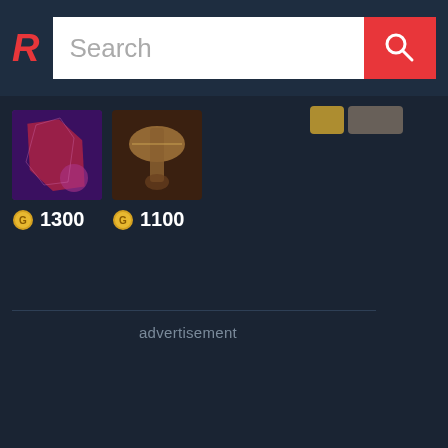Search bar with logo R and search input
[Figure (screenshot): Game item icon with purple background and red weapon shape]
1300
[Figure (screenshot): Game item icon with brown/gold background showing armor or boots]
1100
advertisement